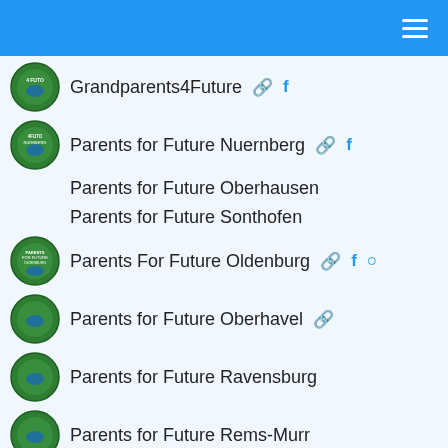Grandparents4Future
Parents for Future Nuernberg
Parents for Future Oberhausen
Parents for Future Sonthofen
Parents For Future Oldenburg
Parents for Future Oberhavel
Parents for Future Ravensburg
Parents for Future Rems-Murr
Parents for Future Schaumburg
Parents4Future Schongauerland
Parents For Future Schrobenhausen
Parentsforfuture Schwäbisch Hall